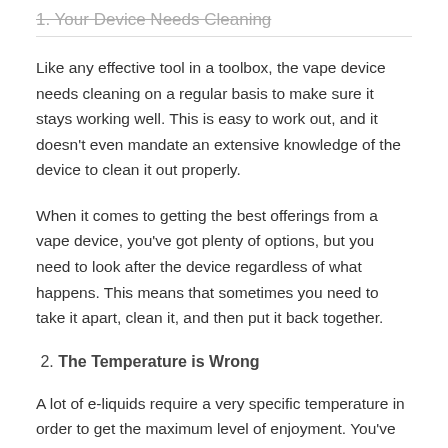1. Your Device Needs Cleaning
Like any effective tool in a toolbox, the vape device needs cleaning on a regular basis to make sure it stays working well. This is easy to work out, and it doesn't even mandate an extensive knowledge of the device to clean it out properly.
When it comes to getting the best offerings from a vape device, you've got plenty of options, but you need to look after the device regardless of what happens. This means that sometimes you need to take it apart, clean it, and then put it back together.
2. The Temperature is Wrong
A lot of e-liquids require a very specific temperature in order to get the maximum level of enjoyment. You've probably spent quite some time looking at all of the different options